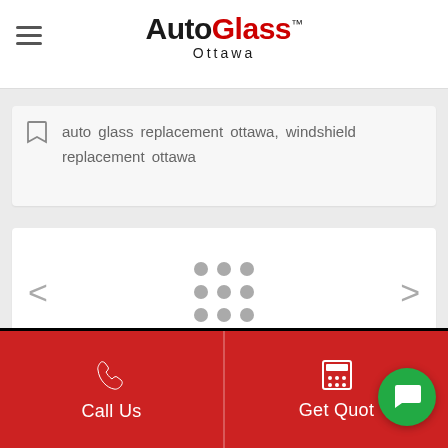AutoGlass Ottawa
most efficient sources in absolutely no time. To reach out to our high-rated team, call us at ...8622.
auto glass replacement ottawa, windshield replacement ottawa
[Figure (screenshot): Carousel navigation area with left and right arrows and a 3x3 dot grid in the center]
[Figure (screenshot): Footer bar with Call Us button (phone icon) and Get Quote button (calculator icon), plus a green chat bubble]
Call Us
Get Quote